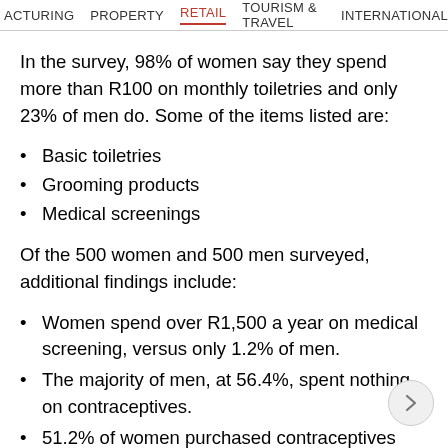ACTURING   PROPERTY   RETAIL   TOURISM & TRAVEL   INTERNATIONAL
In the survey, 98% of women say they spend more than R100 on monthly toiletries and only 23% of men do. Some of the items listed are:
Basic toiletries
Grooming products
Medical screenings
Of the 500 women and 500 men surveyed, additional findings include:
Women spend over R1,500 a year on medical screening, versus only 1.2% of men.
The majority of men, at 56.4%, spent nothing on contraceptives.
51.2% of women purchased contraceptives month…